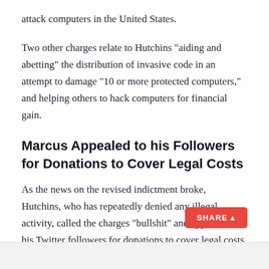attack computers in the United States.
Two other charges relate to Hutchins "aiding and abetting" the distribution of invasive code in an attempt to damage "10 or more protected computers," and helping others to hack computers for financial gain.
Marcus Appealed to his Followers for Donations to Cover Legal Costs
As the news on the revised indictment broke, Hutchins, who has repeatedly denied any illegal activity, called the charges "bullshit" and appealed to his Twitter followers for donations to cover legal costs.